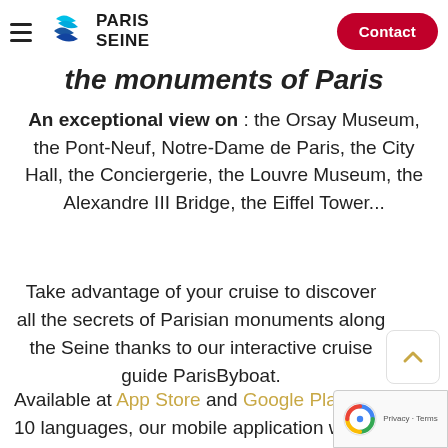Paris Seine — Contact
the monuments of Paris
An exceptional view on : the Orsay Museum, the Pont-Neuf, Notre-Dame de Paris, the City Hall, the Conciergerie, the Louvre Museum, the Alexandre III Bridge, the Eiffel Tower...
Take advantage of your cruise to discover all the secrets of Parisian monuments along the Seine thanks to our interactive cruise guide ParisByboat.
Available at App Store and Google Play Store in 10 languages, our mobile application will be your